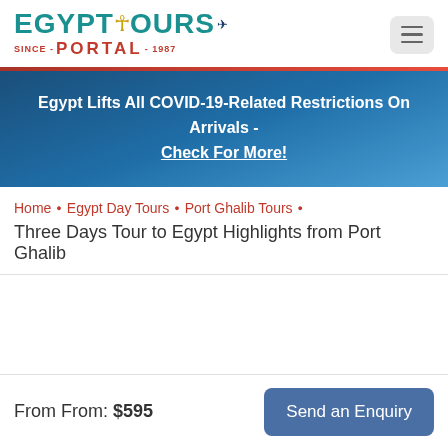[Figure (logo): Egypt Tours Portal logo with teal/green 'EGYPT TOURS' text, ankh symbol, airplane icon, and red 'SINCE PORTAL 1987' text below]
Egypt Lifts All COVID-19-Related Restrictions On Arrivals - Check For More!
Home • Egypt Day Tours • Port Ghalib Tours •
Three Days Tour to Egypt Highlights from Port Ghalib
From From: $595
Send an Enquiry